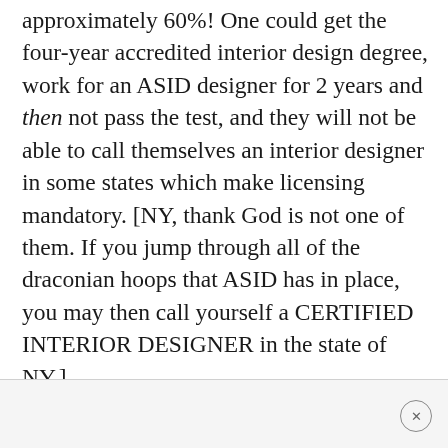approximately 60%! One could get the four-year accredited interior design degree, work for an ASID designer for 2 years and then not pass the test, and they will not be able to call themselves an interior designer in some states which make licensing mandatory. [NY, thank God is not one of them. If you jump through all of the draconian hoops that ASID has in place, you may then call yourself a CERTIFIED INTERIOR DESIGNER in the state of NY.]
Jolly good.